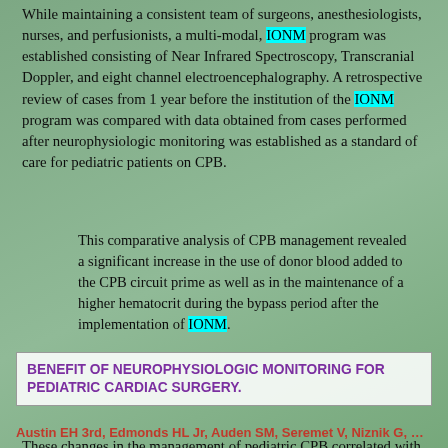While maintaining a consistent team of surgeons, anesthesiologists, nurses, and perfusionists, a multi-modal, IONM program was established consisting of Near Infrared Spectroscopy, Transcranial Doppler, and eight channel electroencephalography. A retrospective review of cases from 1 year before the institution of the IONM program was compared with data obtained from cases performed after neurophysiologic monitoring was established as a standard of care for pediatric patients on CPB.
This comparative analysis of CPB management revealed a significant increase in the use of donor blood added to the CPB circuit prime as well as in the maintenance of a higher hematocrit during the bypass period after the implementation of IONM.
These changes in the management of pediatric CPB correlated with recommendations of previous studies that examined postoperative neurophysiologic outcomes, suggesting that these changes were not only consistent with best practices, but that the presence of IONM data facilitated a transition to evidence-based practice.
BENEFIT OF NEUROPHYSIOLOGIC MONITORING FOR PEDIATRIC CARDIAC SURGERY.
Austin EH 3rd, Edmonds HL Jr, Auden SM, Seremet V, Niznik G, Sehic